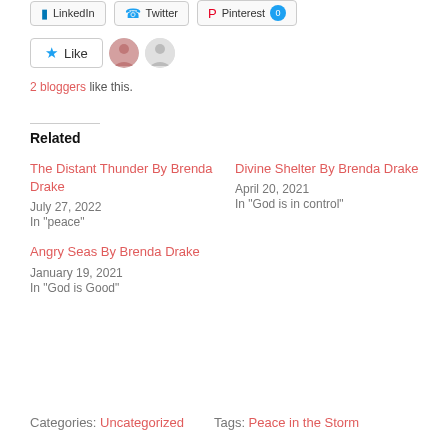[Figure (screenshot): Social share buttons: LinkedIn, Twitter, Pinterest with count badge]
[Figure (screenshot): Like button with star icon, two avatar thumbnails]
2 bloggers like this.
Related
The Distant Thunder By Brenda Drake
July 27, 2022
In "peace"
Divine Shelter By Brenda Drake
April 20, 2021
In "God is in control"
Angry Seas By Brenda Drake
January 19, 2021
In "God is Good"
Categories: Uncategorized   Tags: Peace in the Storm